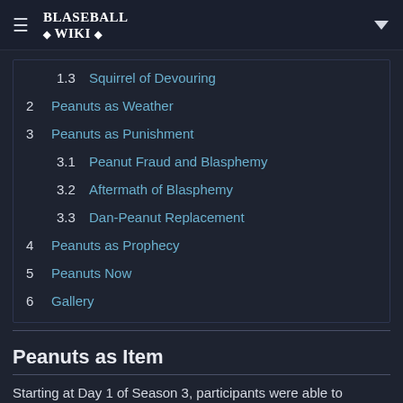BLASEBALL WIKI
1.3 Squirrel of Devouring
2 Peanuts as Weather
3 Peanuts as Punishment
3.1 Peanut Fraud and Blasphemy
3.2 Aftermath of Blasphemy
3.3 Dan-Peanut Replacement
4 Peanuts as Prophecy
5 Peanuts Now
6 Gallery
Peanuts as Item
Starting at Day 1 of Season 3, participants were able to purchase peanuts at the Shop. The peanuts were tracked with an inventory icon, exactly like coins and